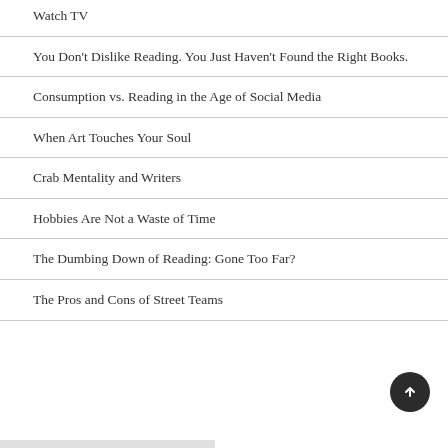Watch TV
You Don't Dislike Reading. You Just Haven't Found the Right Books.
Consumption vs. Reading in the Age of Social Media
When Art Touches Your Soul
Crab Mentality and Writers
Hobbies Are Not a Waste of Time
The Dumbing Down of Reading: Gone Too Far?
The Pros and Cons of Street Teams